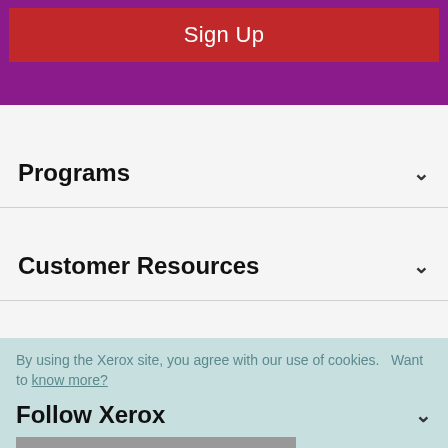[Figure (screenshot): Purple header banner with a red Sign Up button]
Programs
Customer Resources
Contact Us
Follow Xerox
By using the Xerox site, you agree with our use of cookies.  Want to know more?
I consent to cookies
About Xerox | Careers | Investors | Privacy
Legal | Privacy Choices